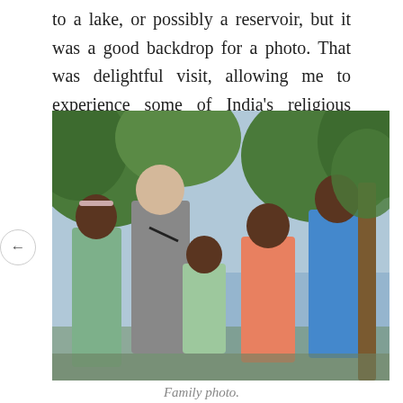to a lake, or possibly a reservoir, but it was a good backdrop for a photo. That was delightful visit, allowing me to experience some of India's religious diversity.
[Figure (photo): A group photo of five people — an elderly man and four young girls/women — standing together outdoors near a lake or reservoir with green trees in the background.]
Family photo.
I tried to visit Fort Dansborg (Danish Fort), not far away, but it was closed for the festival of Thiruvalluvar day, which is named after a